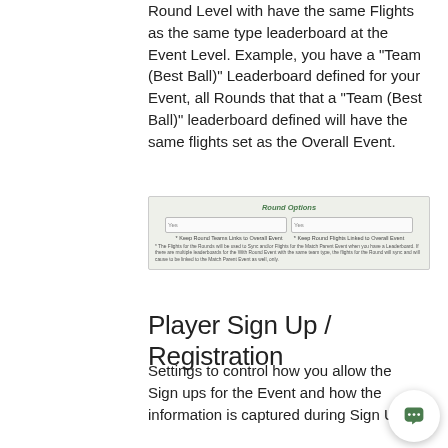Round Level with have the same Flights as the same type leaderboard at the Event Level. Example, you have a "Team (Best Ball)" Leaderboard defined for your Event, all Rounds that that a "Team (Best Ball)" leaderboard defined will have the same flights set as the Overall Event.
[Figure (screenshot): Round Options dialog showing two dropdown selectors labeled 'Keep Round Teams Links to Overall Event' and 'Keep Round Flights Linked to Overall Event', with explanatory footnote text below.]
Player Sign Up / Registration
Settings to control how you allow the Sign ups for the Event and how the information is captured during Sign Up.